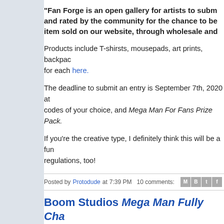"Fan Forge is an open gallery for artists to subm... and rated by the community for the chance to be... item sold on our website, through wholesale and...
Products include T-shirsts, mousepads, art prints, backpac... for each here.
The deadline to submit an entry is September 7th, 2020 at... codes of your choice, and Mega Man For Fans Prize Pack.
If you're the creative type, I definitely think this will be a fun... regulations, too!
Posted by Protodude at 7:39 PM   10 comments:
Boom Studios Mega Man Fully Cha...